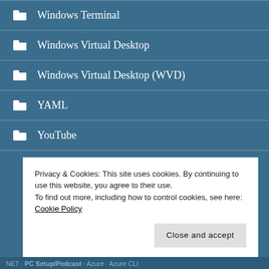Windows Terminal
Windows Virtual Desktop
Windows Virtual Desktop (WVD)
YAML
YouTube
Privacy & Cookies: This site uses cookies. By continuing to use this website, you agree to their use.
To find out more, including how to control cookies, see here: Cookie Policy
NET · PC Setup/Podcast · Azure · Azure CLI